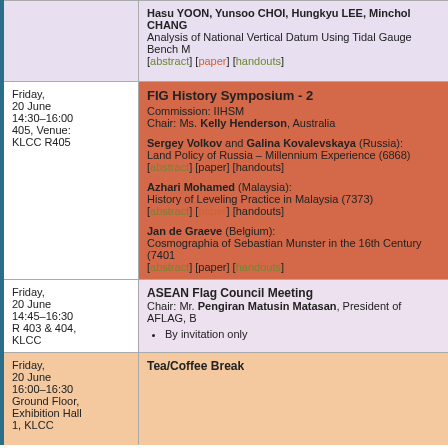| Time/Location | Session/Content |
| --- | --- |
|  | Hasu YOON, Yunsoo CHOI, Hungkyu LEE, Minchol CHANG... Analysis of National Vertical Datum Using Tidal Gauge Bench M... [abstract] [paper] [handouts] |
| Friday, 20 June 14:30–16:00 405, Venue: KLCC R405 | FIG History Symposium - 2 Commission: IIHSM Chair: Ms. Kelly Henderson, Australia
Sergey Volkov and Galina Kovalevskaya (Russia): Land Policy of Russia – Millennium Experience (6868) [abstract] [paper] [handouts]
Azhari Mohamed (Malaysia): History of Leveling Practice in Malaysia (7373) [abstract] [paper] [handouts]
Jan de Graeve (Belgium): Cosmographia of Sebastian Munster in the 16th Century (7401... [abstract] [paper] [handouts] |
| Friday, 20 June 14:45–16:30 R 403 & 404, KLCC | ASEAN Flag Council Meeting Chair: Mr. Pengiran Matusin Matasan, President of AFLAG, B... By invitation only |
| Friday, 20 June 16:00–16:30 Ground Floor, Exhibition Hall 1, KLCC | Tea/Coffee Break |